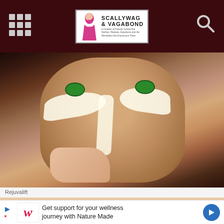Scallywag & Vagabond
[Figure (photo): Close-up photo of a woman with green eyes applying concealer or foundation makeup with a brush under her eyes, with white cream applied in triangular shapes under both eyes.]
Rejuvalift
[Figure (photo): Partial photo showing skin/face, partially obscured by advertisement overlay.]
Get support for your wellness journey with Nature Made